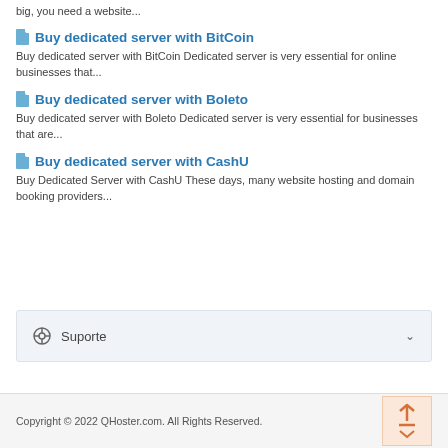big, you need a website...
Buy dedicated server with BitCoin
Buy dedicated server with BitCoin Dedicated server is very essential for online businesses that...
Buy dedicated server with Boleto
Buy dedicated server with Boleto Dedicated server is very essential for businesses that are...
Buy dedicated server with CashU
Buy Dedicated Server with CashU These days, many website hosting and domain booking providers...
Suporte
Copyright © 2022 QHoster.com. All Rights Reserved.